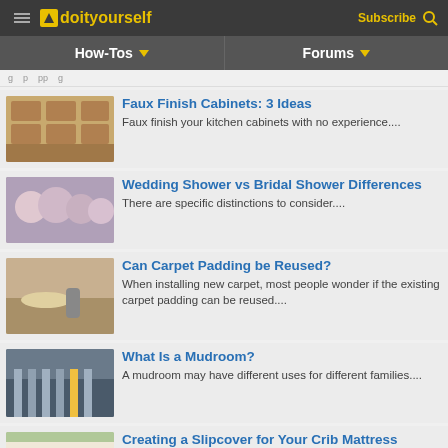doityourself — Subscribe
[Figure (screenshot): Navigation bar with How-Tos and Forums menu items]
g   p   pp   g
[Figure (photo): Kitchen cabinets photo thumbnail]
Faux Finish Cabinets: 3 Ideas
Faux finish your kitchen cabinets with no experience....
[Figure (photo): Group of women photo thumbnail]
Wedding Shower vs Bridal Shower Differences
There are specific distinctions to consider....
[Figure (photo): Carpet padding photo thumbnail]
Can Carpet Padding be Reused?
When installing new carpet, most people wonder if the existing carpet padding can be reused....
[Figure (photo): Mudroom photo thumbnail]
What Is a Mudroom?
A mudroom may have different uses for different families....
[Figure (photo): Crib mattress slipcover photo thumbnail]
Creating a Slipcover for Your Crib Mattress
It's pretty easy, and good practice for larger projects!...
How to Put a Kill Switch on a Go Kart Engine
Putting a kill switch on your go kart engine is a great way to keep yourself safe